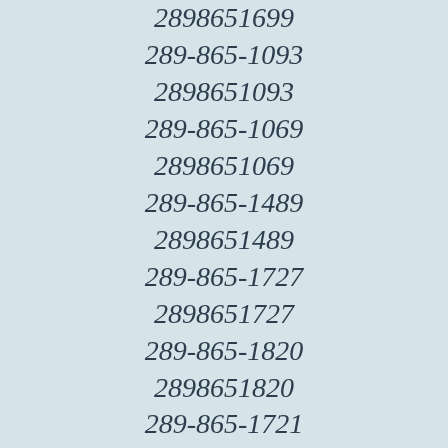2898651699
289-865-1093
2898651093
289-865-1069
2898651069
289-865-1489
2898651489
289-865-1727
2898651727
289-865-1820
2898651820
289-865-1721
2898651721
289-865-1962
2898651962
289-865-1614